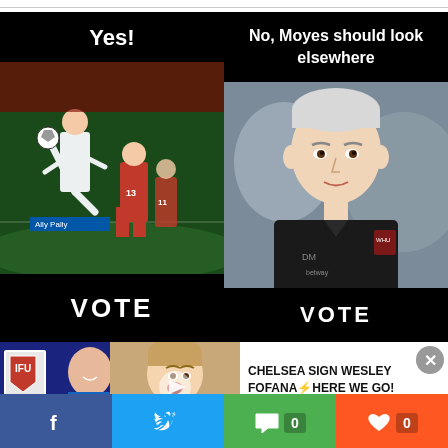Yes!
[Figure (photo): Football players in action, white vs red kits, one player kicking high]
VOTE
No, Moyes should look elsewhere
[Figure (photo): David Moyes, West Ham manager, close-up portrait in black jacket with West Ham badge]
VOTE
[Figure (photo): Two Chelsea players on blue background with club logo]
[Figure (photo): Video thumbnail of presenter with surprised expression]
CHELSEA SIGN WESLEY FOFANA⚡HERE WE GO! Aubameyang Next?